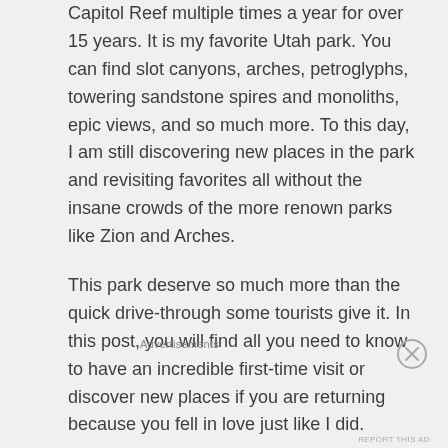Capitol Reef multiple times a year for over 15 years. It is my favorite Utah park. You can find slot canyons, arches, petroglyphs, towering sandstone spires and monoliths, epic views, and so much more. To this day, I am still discovering new places in the park and revisiting favorites all without the insane crowds of the more renown parks like Zion and Arches.
This park deserve so much more than the quick drive-through some tourists give it. In this post, you will find all you need to know to have an incredible first-time visit or discover new places if you are returning because you fell in love just like I did.
Advertisements